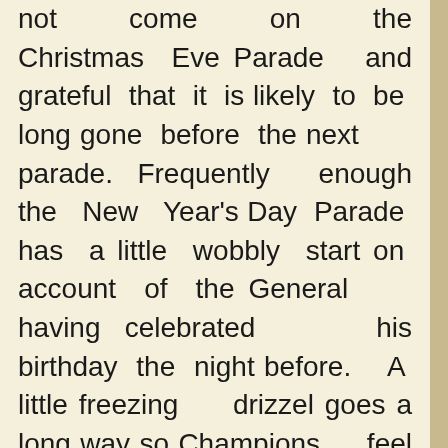not come on the Christmas Eve Parade and grateful that it is likely to be long gone before the next parade. Frequently enough the New Year's Day Parade has a little wobbly start on account of the General having celebrated his birthday the night before. A little freezing drizzel goes a long way so Champions feel very blessed and will just hope that the General stays dry and is able to